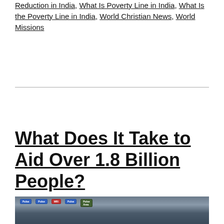Reduction in India, What Is Poverty Line in India, What Is the Poverty Line in India, World Christian News, World Missions
What Does It Take to Aid Over 1.8 Billion People?
[Figure (photo): A busy street scene with colorful commercial signage including Pulse and MRI signs, urban setting likely in Asia]